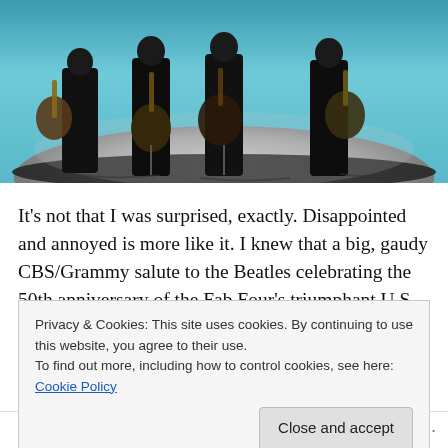[Figure (photo): Black and white photo of four musicians (The Beatles) standing on a circular stage, each holding a guitar, wearing dark suits. The background has a teal/cyan tone.]
It's not that I was surprised, exactly. Disappointed and annoyed is more like it. I knew that a big, gaudy CBS/Grammy salute to the Beatles celebrating the 50th anniversary of the Fab Four's triumphant U.S. debut on
Privacy & Cookies: This site uses cookies. By continuing to use this website, you agree to their use.
To find out more, including how to control cookies, see here: Cookie Policy
Follow